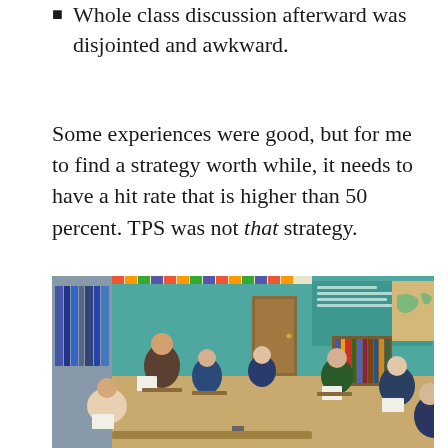Whole class discussion afterward was disjointed and awkward.
Some experiences were good, but for me to find a strategy worth while, it needs to have a hit rate that is higher than 50 percent. TPS was not that strategy.
[Figure (photo): Classroom photo showing a teacher and several elementary-age students sitting in a circle on chairs, engaged in a discussion. The room has bookshelves, a green chalkboard, and colorful decorations.]